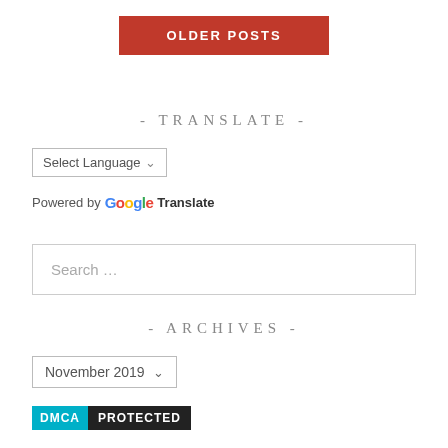OLDER POSTS
- TRANSLATE -
Select Language
Powered by Google Translate
Search …
- ARCHIVES -
November 2019
[Figure (other): DMCA Protected badge with cyan DMCA label and black PROTECTED label]